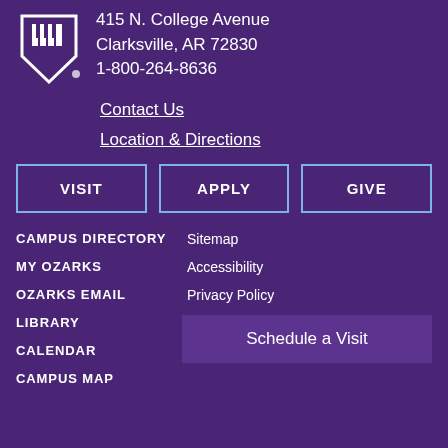[Figure (logo): University of the Ozarks shield logo in white on purple background]
415 N. College Avenue
Clarksville, AR 72830
1-800-264-8636
Contact Us
Location & Directions
VISIT
APPLY
GIVE
CAMPUS DIRECTORY
MY OZARKS
OZARKS EMAIL
LIBRARY
CALENDAR
CAMPUS MAP
Sitemap
Accessibility
Privacy Policy
Schedule a Visit